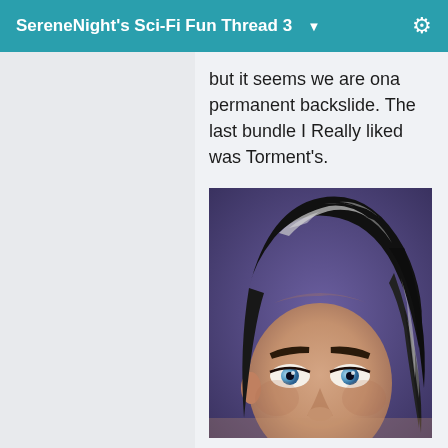SereneNight's Sci-Fi Fun Thread 3
but it seems we are ona permanent backslide. The last bundle I Really liked was Torment's.
[Figure (photo): Close-up portrait of a man with dark slicked-back hair with white highlights, blue eyes, dark eyebrows, against a purple background. Appears to be a 3D rendered or stylized illustration.]